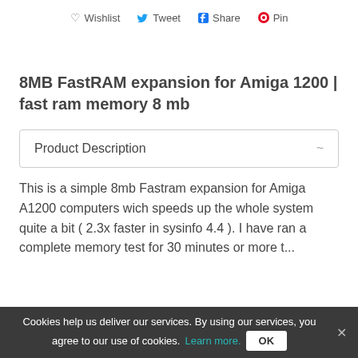Wishlist  Tweet  Share  Pin
8MB FastRAM expansion for Amiga 1200 | fast ram memory 8 mb
Product Description
This is a simple 8mb Fastram expansion for Amiga A1200 computers wich speeds up the whole system quite a bit ( 2.3x faster in sysinfo 4.4 ). I have ran a complete memory test for 30 minutes or more t...
Cookies help us deliver our services. By using our services, you agree to our use of cookies. Learn more.